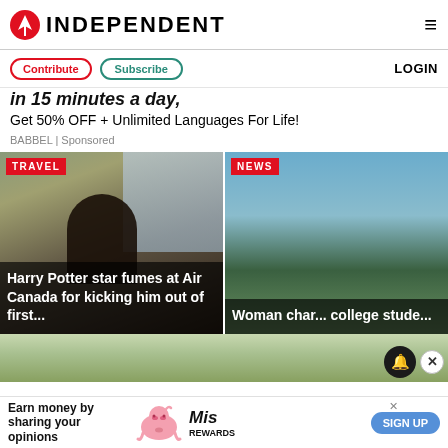INDEPENDENT
Contribute | Subscribe | LOGIN
in 15 minutes a day,
Get 50% OFF + Unlimited Languages For Life!
BABBEL | Sponsored
[Figure (photo): Harry Potter star fumes at Air Canada for kicking him out of first... (TRAVEL badge, photo of young man)]
[Figure (photo): Woman char... college stude... (NEWS badge, aerial landscape photo)]
[Figure (photo): Bottom strip showing a house/building with trees]
Earn money by sharing your opinions | SIGN UP